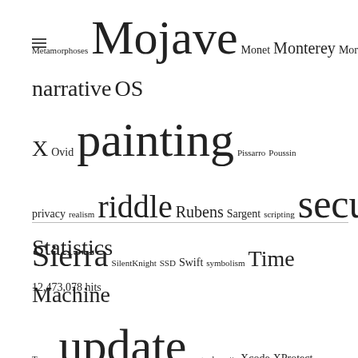[Figure (other): Tag cloud with words of varying sizes: Metamorphoses, Mojave, Monet, Monterey, Moreau, MRT, myth, narrative, OS X, Ovid, painting, Pissarro, Poussin, privacy, realism, riddle, Rubens, Sargent, scripting, security, Sierra, SilentKnight, SSD, Swift, symbolism, Time Machine, Turner, update, upgrade, xattr, Xcode, XProtect]
Statistics
12,473,078 hits